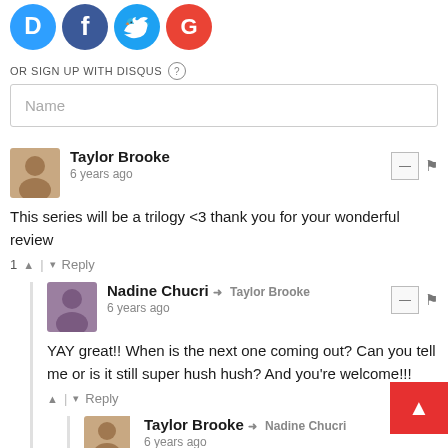[Figure (illustration): Social login icons: Disqus (blue D), Facebook (blue f), Twitter (blue bird), Google (red G) in circles]
OR SIGN UP WITH DISQUS ?
Name
Taylor Brooke
6 years ago
This series will be a trilogy <3 thank you for your wonderful review
1 ^ | v Reply
Nadine Chucri → Taylor Brooke
6 years ago
YAY great!! When is the next one coming out? Can you tell me or is it still super hush hush? And you're welcome!!!
^ | v Reply
Taylor Brooke → Nadine Chucri
6 years ago
It's slated for summer 2017 :) I'm guessing sometime in